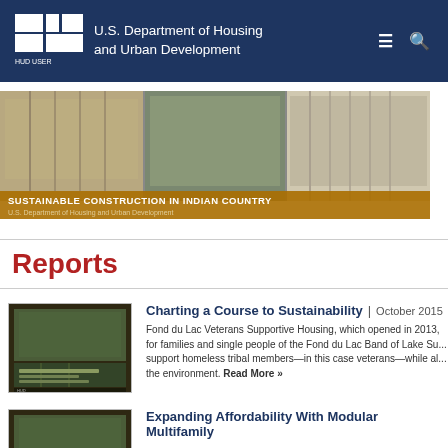U.S. Department of Housing and Urban Development
[Figure (photo): Banner image showing sustainable construction in Indian Country with three panels of housing construction photos and a golden title bar reading 'SUSTAINABLE CONSTRUCTION IN INDIAN COUNTRY / U.S. Department of Housing and Urban Development']
Reports
[Figure (photo): Thumbnail cover of report 'Charting a Course to Sustainability']
Charting a Course to Sustainability | October 2015
Fond du Lac Veterans Supportive Housing, which opened in 2013, for families and single people of the Fond du Lac Band of Lake Su... support homeless tribal members—in this case veterans—while al... the environment. Read More »
[Figure (photo): Thumbnail cover of report 'Expanding Affordability With Modular Multifamily']
Expanding Affordability With Modular Multifamily